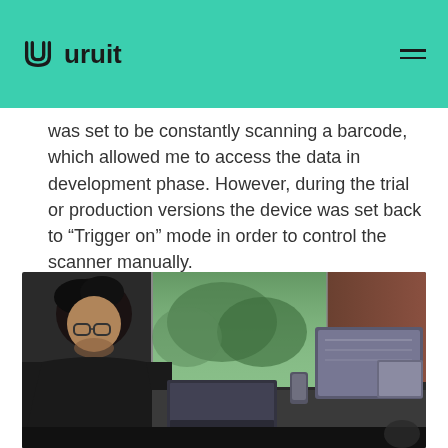uruit
was set to be constantly scanning a barcode, which allowed me to access the data in development phase. However, during the trial or production versions the device was set back to “Trigger on” mode in order to control the scanner manually.
[Figure (photo): A person with curly hair and glasses sitting at a desk with multiple monitors, a laptop, and a phone holder, viewed from the side in a room with a window showing trees outside.]